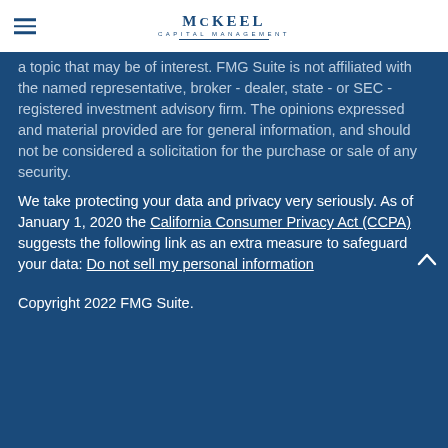McKeel Capital Management
a topic that may be of interest. FMG Suite is not affiliated with the named representative, broker - dealer, state - or SEC - registered investment advisory firm. The opinions expressed and material provided are for general information, and should not be considered a solicitation for the purchase or sale of any security.
We take protecting your data and privacy very seriously. As of January 1, 2020 the California Consumer Privacy Act (CCPA) suggests the following link as an extra measure to safeguard your data: Do not sell my personal information
Copyright 2022 FMG Suite.